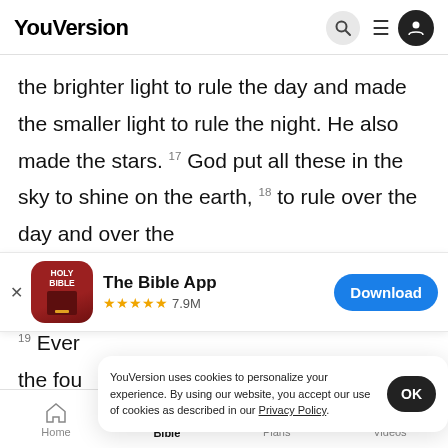YouVersion
the brighter light to rule the day and made the smaller light to rule the night. He also made the stars. 17 God put all these in the sky to shine on the earth, 18 to rule over the day and over the
[Figure (screenshot): The Bible App download banner with Holy Bible app icon, 5 stars rating, 7.9M reviews, and Download button]
19 Ever the fou
YouVersion uses cookies to personalize your experience. By using our website, you accept our use of cookies as described in our Privacy Policy.
Home  Bible  Plans  Videos